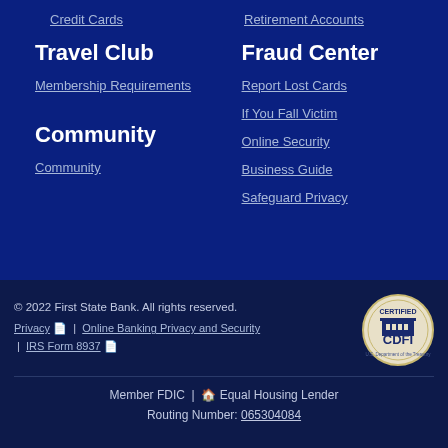Credit Cards
Retirement Accounts
Travel Club
Fraud Center
Membership Requirements
Report Lost Cards
If You Fall Victim
Online Security
Community
Business Guide
Community
Safeguard Privacy
© 2022 First State Bank. All rights reserved. Privacy | Online Banking Privacy and Security | IRS Form 8937
[Figure (logo): CDFI Certified seal from U.S. Department of the Treasury]
Member FDIC | Equal Housing Lender Routing Number: 065304084